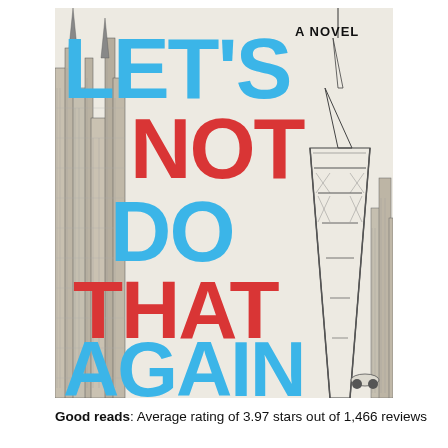[Figure (illustration): Book cover of 'Let's Not Do That Again' — A Novel. Large bold text alternating blue and red: LET'S (blue), NOT (red), DO (blue), THAT (red), AGAIN (blue). Background features ink-drawn city skylines on left (New York) and right (Paris with Eiffel Tower). Text 'A NOVEL' in small black caps upper right.]
Good reads: Average rating of 3.97 stars out of 1,466 reviews